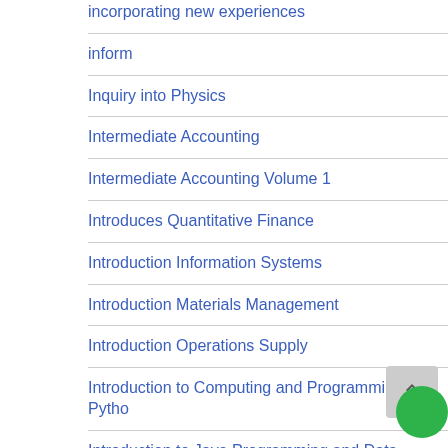incorporating new experiences
inform
Inquiry into Physics
Intermediate Accounting
Intermediate Accounting Volume 1
Introduces Quantitative Finance
Introduction Information Systems
Introduction Materials Management
Introduction Operations Supply
Introduction to Computing and Programming in Pytho
Introduction to Java Programming and Data Structure
Introductory Econometrics Modern